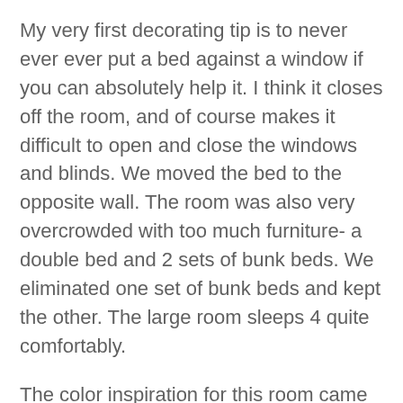My very first decorating tip is to never ever ever put a bed against a window if you can absolutely help it. I think it closes off the room, and of course makes it difficult to open and close the windows and blinds. We moved the bed to the opposite wall. The room was also very overcrowded with too much furniture- a double bed and 2 sets of bunk beds. We eliminated one set of bunk beds and kept the other. The large room sleeps 4 quite comfortably.
The color inspiration for this room came from the bedspread, which I got for a